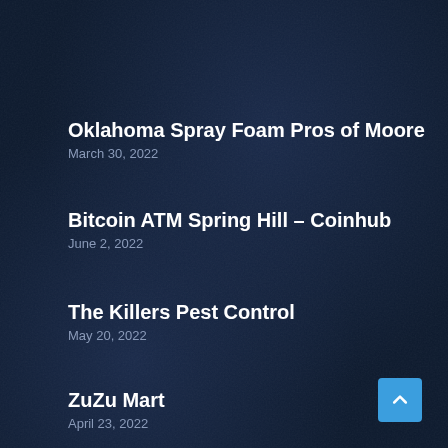Oklahoma Spray Foam Pros of Moore
March 30, 2022
Bitcoin ATM Spring Hill – Coinhub
June 2, 2022
The Killers Pest Control
May 20, 2022
ZuZu Mart
April 23, 2022
Jordan Tree Service – Murray
August 8, 2021